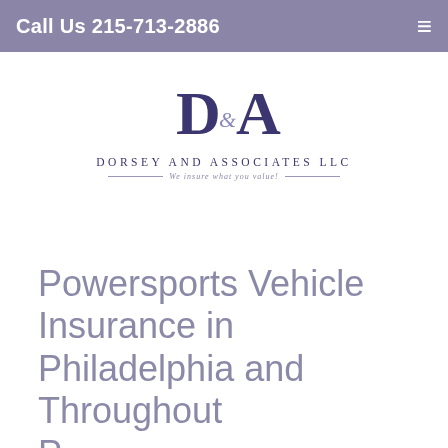Call Us 215-713-2886
[Figure (logo): Dorsey and Associates LLC logo — stylized D&A monogram above text 'DORSEY AND ASSOCIATES LLC' with tagline 'We insure what you value!']
Powersports Vehicle Insurance in Philadelphia and Throughout Pennsylvania